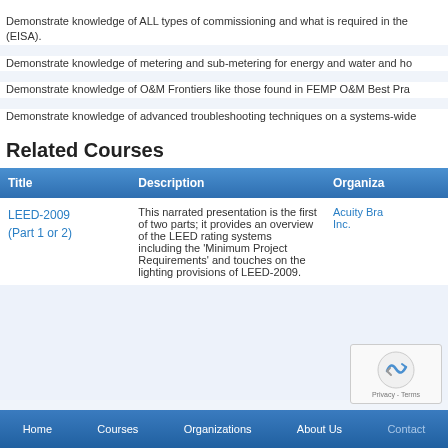Demonstrate knowledge of ALL types of commissioning and what is required in the (EISA).
Demonstrate knowledge of metering and sub-metering for energy and water and ho
Demonstrate knowledge of O&M Frontiers like those found in FEMP O&M Best Pra
Demonstrate knowledge of advanced troubleshooting techniques on a systems-wide
Related Courses
| Title | Description | Organiza |
| --- | --- | --- |
| LEED-2009 (Part 1 or 2) | This narrated presentation is the first of two parts; it provides an overview of the LEED rating systems including the 'Minimum Project Requirements' and touches on the lighting provisions of LEED-2009. | Acuity Bra Inc. |
Home   Courses   Organizations   About Us   Contact